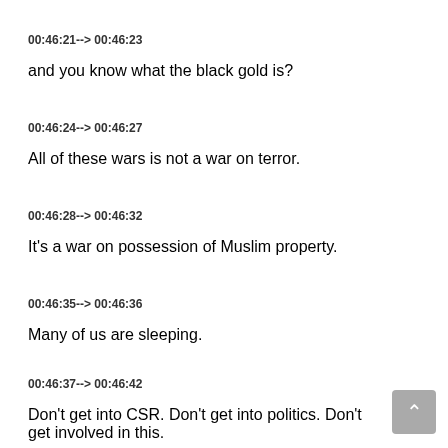00:46:21--> 00:46:23
and you know what the black gold is?
00:46:24--> 00:46:27
All of these wars is not a war on terror.
00:46:28--> 00:46:32
It's a war on possession of Muslim property.
00:46:35--> 00:46:36
Many of us are sleeping.
00:46:37--> 00:46:42
Don't get into CSR. Don't get into politics. Don't get involved in this.